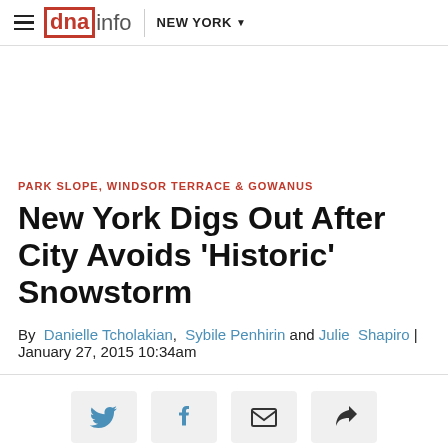dnainfo NEW YORK
PARK SLOPE, WINDSOR TERRACE & GOWANUS
New York Digs Out After City Avoids 'Historic' Snowstorm
By Danielle Tcholakian, Sybile Penhirin and Julie Shapiro | January 27, 2015 10:34am
[Figure (other): Social sharing buttons: Twitter, Facebook, Email, Share]